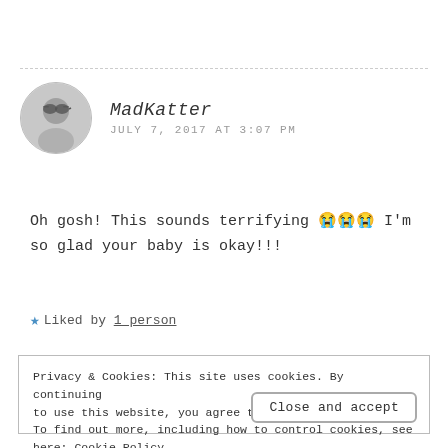[Figure (photo): Circular avatar photo of a person wearing sunglasses, grayscale]
MadKatter
JULY 7, 2017 AT 3:07 PM
Oh gosh! This sounds terrifying 😭😭😭 I'm so glad your baby is okay!!!
★ Liked by 1 person
Privacy & Cookies: This site uses cookies. By continuing to use this website, you agree to their use. To find out more, including how to control cookies, see here: Cookie Policy
Close and accept